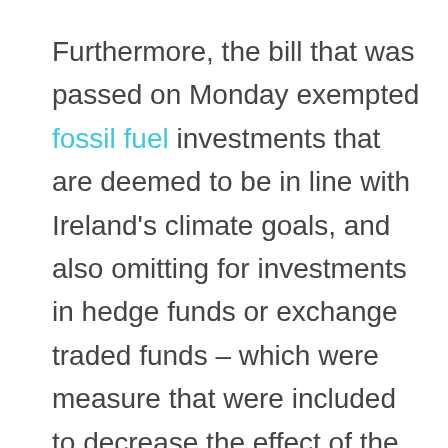Furthermore, the bill that was passed on Monday exempted fossil fuel investments that are deemed to be in line with Ireland's climate goals, and also omitting for investments in hedge funds or exchange traded funds – which were measure that were included to decrease the effect of the bill after it was introduced 2 years ago.